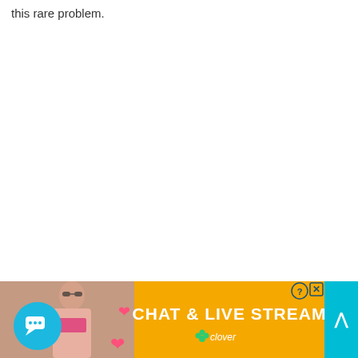this rare problem.
[Figure (screenshot): Advertisement banner at bottom of page: orange/yellow background with 'CHAT & LIVE STREAM' text in white bold, Clover branding, a photo of a woman on a beach, heart emojis, a blue circular chat bubble icon, close and scroll-up buttons]